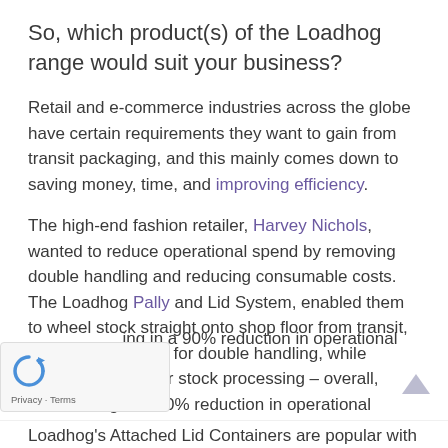So, which product(s) of the Loadhog range would suit your business?
Retail and e-commerce industries across the globe have certain requirements they want to gain from transit packaging, and this mainly comes down to saving money, time, and improving efficiency.
The high-end fashion retailer, Harvey Nichols, wanted to reduce operational spend by removing double handling and reducing consumable costs. The Loadhog Pally and Lid System, enabled them to wheel stock straight onto shop floor from transit, removing the need for double handling, while allowing for quicker stock processing – overall, [result]ing in a 90% reduction in operational [spend]ing.
Loadhog's Attached Lid Containers are popular with